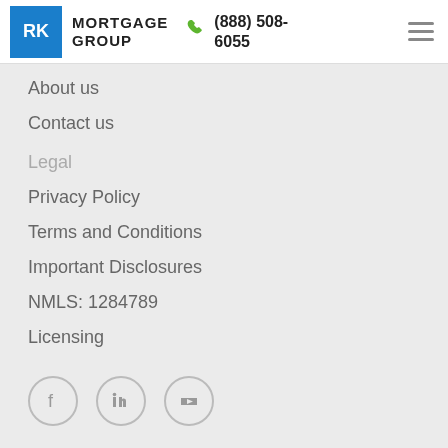RK MORTGAGE GROUP (888) 508-6055
About us
Contact us
Legal
Privacy Policy
Terms and Conditions
Important Disclosures
NMLS: 1284789
Licensing
[Figure (illustration): Social media icons: Facebook, LinkedIn, YouTube in circular outlines]